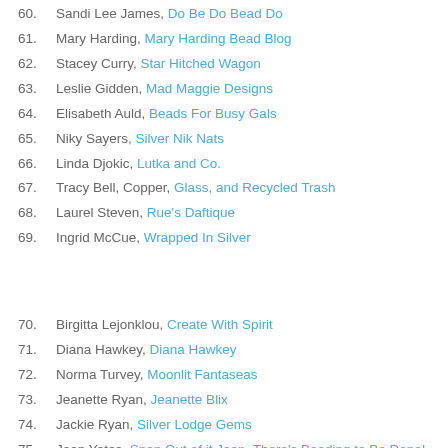60. Sandi Lee James, Do Be Do Bead Do
61. Mary Harding, Mary Harding Bead Blog
62. Stacey Curry, Star Hitched Wagon
63. Leslie Gidden, Mad Maggie Designs
64. Elisabeth Auld, Beads For Busy Gals
65. Niky Sayers, Silver Nik Nats
66. Linda Djokic, Lutka and Co.
67. Tracy Bell, Copper, Glass, and Recycled Trash
68. Laurel Steven, Rue's Daftique
69. Ingrid McCue, Wrapped In Silver
70. Birgitta Lejonklou, Create With Spirit
71. Diana Hawkey, Diana Hawkey
72. Norma Turvey, Moonlit Fantaseas
73. Jeanette Ryan, Jeanette Blix
74. Jackie Ryan, Silver Lodge Gems
75. Jean Yates, Snap Out of it Jean, There's Beading to Be Done!